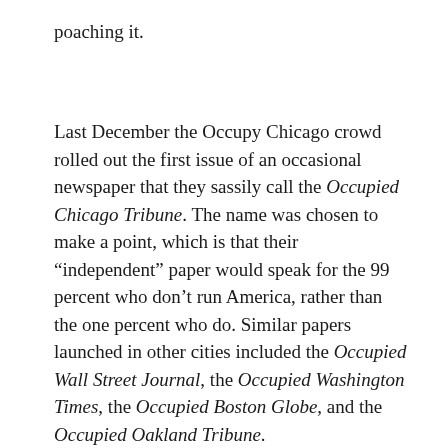poaching it.
Last December the Occupy Chicago crowd rolled out the first issue of an occasional newspaper that they sassily call the Occupied Chicago Tribune. The name was chosen to make a point, which is that their “independent” paper would speak for the 99 percent who don’t run America, rather than the one percent who do. Similar papers launched in other cities included the Occupied Wall Street Journal, the Occupied Washington Times, the Occupied Boston Globe, and the Occupied Oakland Tribune.